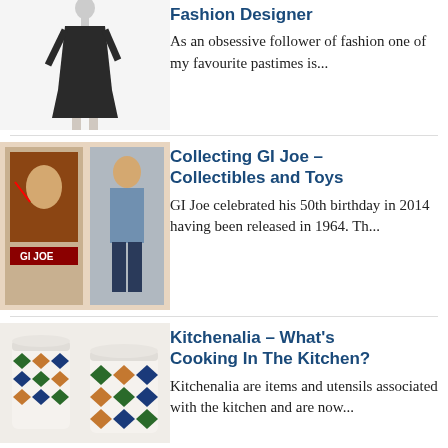[Figure (illustration): A mannequin or figure wearing a dark dress/fashion outfit, shown from the torso down]
Fashion Designer
As an obsessive follower of fashion one of my favourite pastimes is...
[Figure (photo): GI Joe collectible packaging and figure, showing comic book cover art and action figure]
Collecting GI Joe – Collectibles and Toys
GI Joe celebrated his 50th birthday in 2014 having been released in 1964. Th...
[Figure (photo): Kitchenalia items - vintage kitchen canisters or containers with a diamond/argyle pattern in orange, green, and dark colors]
Kitchenalia – What's Cooking In The Kitchen?
Kitchenalia are items and utensils associated with the kitchen and are now...
[Figure (photo): Back to the Future collectible or item, partially visible at bottom of page]
Back to the Future